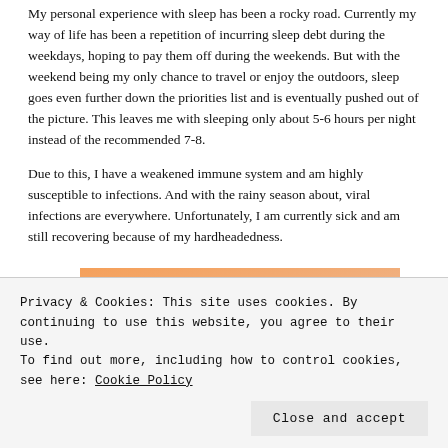My personal experience with sleep has been a rocky road. Currently my way of life has been a repetition of incurring sleep debt during the weekdays, hoping to pay them off during the weekends. But with the weekend being my only chance to travel or enjoy the outdoors, sleep goes even further down the priorities list and is eventually pushed out of the picture. This leaves me with sleeping only about 5-6 hours per night instead of the recommended 7-8.
Due to this, I have a weakened immune system and am highly susceptible to infections. And with the rainy season about, viral infections are everywhere. Unfortunately, I am currently sick and am still recovering because of my hardheadedness.
[Figure (illustration): Partial view of an orange and pink gradient image with bold italic text partially visible at the top]
Privacy & Cookies: This site uses cookies. By continuing to use this website, you agree to their use.
To find out more, including how to control cookies, see here: Cookie Policy
Close and accept